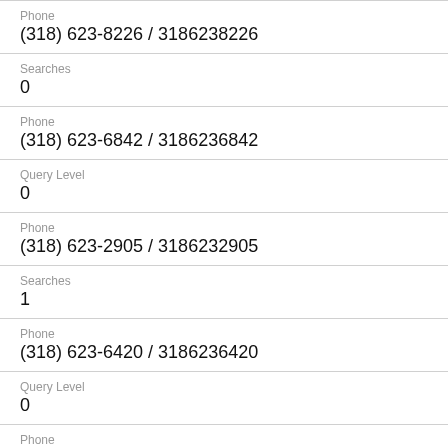Phone
(318) 623-8226 / 3186238226
Searches
0
Phone
(318) 623-6842 / 3186236842
Query Level
0
Phone
(318) 623-2905 / 3186232905
Searches
1
Phone
(318) 623-6420 / 3186236420
Query Level
0
Phone
(318) 623-9849 / 3186239849